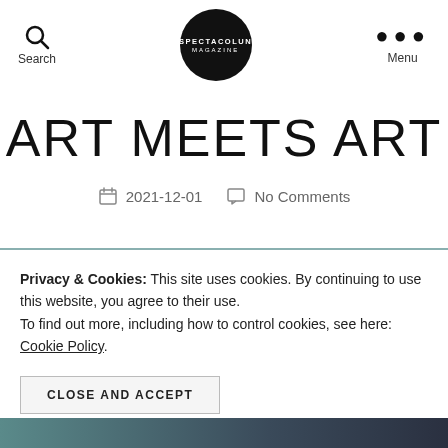Search | SPECTACOLUN MAGAZINE | Menu
ART MEETS ART
2021-12-01   No Comments
Privacy & Cookies: This site uses cookies. By continuing to use this website, you agree to their use. To find out more, including how to control cookies, see here: Cookie Policy.
CLOSE AND ACCEPT